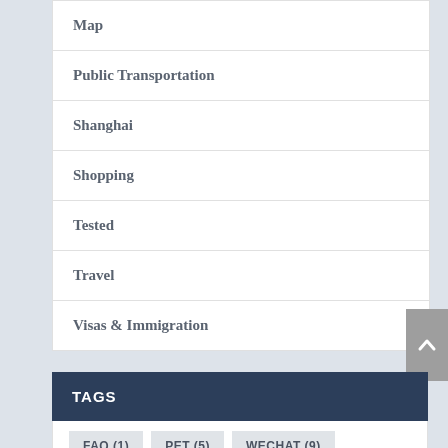Map
Public Transportation
Shanghai
Shopping
Tested
Travel
Visas & Immigration
TAGS
FAQ (1)
PET (5)
WECHAT (9)